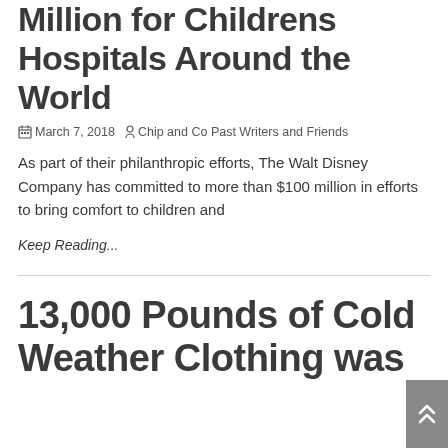Million for Childrens Hospitals Around the World
March 7, 2018  Chip and Co Past Writers and Friends
As part of their philanthropic efforts, The Walt Disney Company has committed to more than $100 million in efforts to bring comfort to children and
Keep Reading...
13,000 Pounds of Cold Weather Clothing was